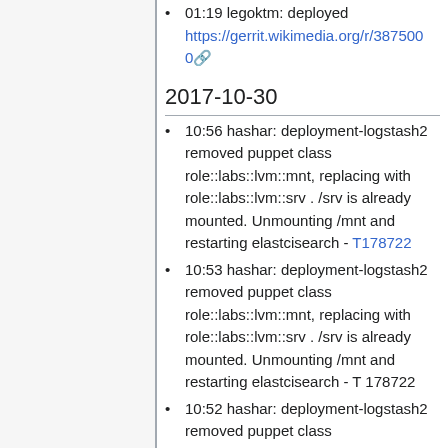01:19 legoktm: deployed https://gerrit.wikimedia.org/r/3875000
2017-10-30
10:56 hashar: deployment-logstash2 removed puppet class role::labs::lvm::mnt, replacing with role::labs::lvm::srv . /srv is already mounted. Unmounting /mnt and restarting elastcisearch - T178722
10:53 hashar: deployment-logstash2 removed puppet class role::labs::lvm::mnt, replacing with role::labs::lvm::srv . /srv is already mounted. Unmounting /mnt and restarting elastcisearch - T 178722
10:52 hashar: deployment-logstash2 removed puppet class role::labs::lvm::mnt, replacing with